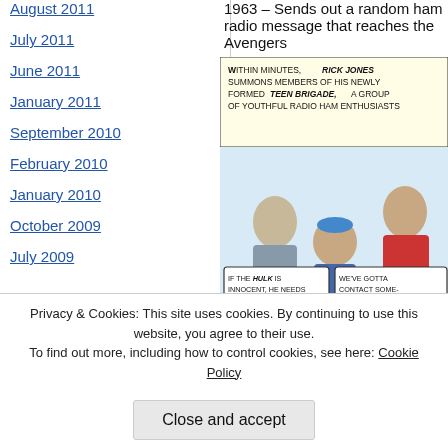August 2011
July 2011
June 2011
January 2011
September 2010
February 2010
January 2010
October 2009
July 2009
1963 – Sends out a random ham radio mes... Avengers
[Figure (illustration): Comic book panel showing Rick Jones at a ham radio set with Teen Brigade members. Speech bubble text reads: 'Within minutes, Rick Jones summons members of his newly formed Teen Brigade, a group of youthful radio ham enthusiasts. If the Hulk is innocent, he needs help, fast. And if he's guilty, it'll take more than the army to stop 'im! / We've gotta contact someone with equal powers...li...' *Teen Brigade formed in issue of Hulk #6.]
Privacy & Cookies: This site uses cookies. By continuing to use this website, you agree to their use.
To find out more, including how to control cookies, see here: Cookie Policy
Close and accept